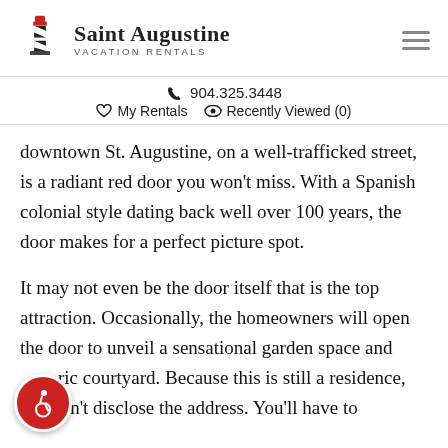Saint Augustine VACATION RENTALS
904.325.3448
My Rentals   Recently Viewed (0)
downtown St. Augustine, on a well-trafficked street, is a radiant red door you won't miss. With a Spanish colonial style dating back well over 100 years, the door makes for a perfect picture spot.
It may not even be the door itself that is the top attraction. Occasionally, the homeowners will open the door to unveil a sensational garden space and ric courtyard. Because this is still a residence, we won't disclose the address. You'll have to